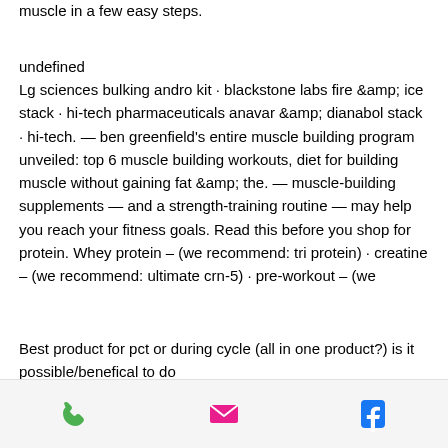muscle in a few easy steps.
undefined
Lg sciences bulking andro kit · blackstone labs fire &amp; ice stack · hi-tech pharmaceuticals anavar &amp; dianabol stack · hi-tech. — ben greenfield's entire muscle building program unveiled: top 6 muscle building workouts, diet for building muscle without gaining fat &amp; the. — muscle-building supplements — and a strength-training routine — may help you reach your fitness goals. Read this before you shop for protein. Whey protein – (we recommend: tri protein) · creatine – (we recommend: ultimate crn-5) · pre-workout – (we
Best product for pct or during cycle (all in one product?) is it possible/benefical to do
phone | email | facebook